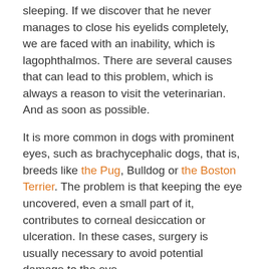sleeping. If we discover that he never manages to close his eyelids completely, we are faced with an inability, which is lagophthalmos. There are several causes that can lead to this problem, which is always a reason to visit the veterinarian. And as soon as possible.
It is more common in dogs with prominent eyes, such as brachycephalic dogs, that is, breeds like the Pug, Bulldog or the Boston Terrier. The problem is that keeping the eye uncovered, even a small part of it, contributes to corneal desiccation or ulceration. In these cases, surgery is usually necessary to avoid potential damage to the eye.
Facial paralysis can also lead to sleeping with the eye open.
In addition, facial paralysis affecting the eyelids may also result in incomplete closure of the eyelids. Normally this type of pathology would only show in one eye. It can be noticed that the dog does not blink even if we bring a finger close to the eye. There are several causes of paralysis, such as tumors, middle or internal otitis media or trauma.